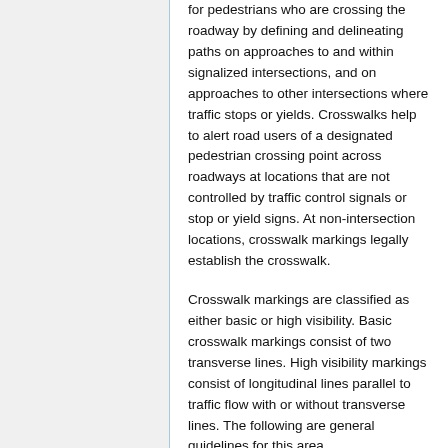for pedestrians who are crossing the roadway by defining and delineating paths on approaches to and within signalized intersections, and on approaches to other intersections where traffic stops or yields. Crosswalks help to alert road users of a designated pedestrian crossing point across roadways at locations that are not controlled by traffic control signals or stop or yield signs. At non-intersection locations, crosswalk markings legally establish the crosswalk.
Crosswalk markings are classified as either basic or high visibility. Basic crosswalk markings consist of two transverse lines. High visibility markings consist of longitudinal lines parallel to traffic flow with or without transverse lines. The following are general guidelines for this area...